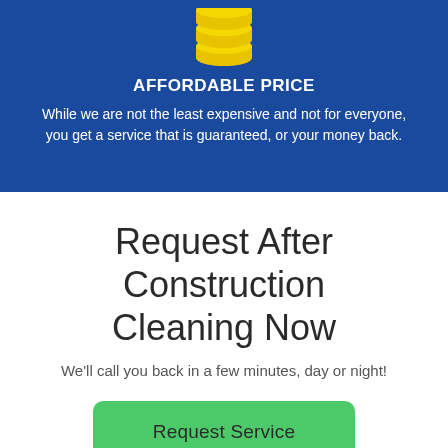[Figure (illustration): Yellow stacked coins icon on blue background, partially cropped at top]
AFFORDABLE PRICE
While we are not the least expensive and not for everyone, you get a service that is guaranteed, or your money back.
Request After Construction Cleaning Now
We'll call you back in a few minutes, day or night!
Request Service